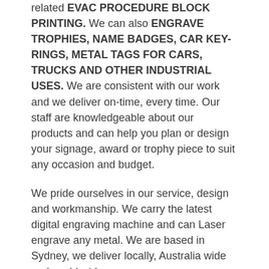related EVAC PROCEDURE BLOCK PRINTING. We can also ENGRAVE TROPHIES, NAME BADGES, CAR KEY-RINGS, METAL TAGS FOR CARS, TRUCKS AND OTHER INDUSTRIAL USES. We are consistent with our work and we deliver on-time, every time. Our staff are knowledgeable about our products and can help you plan or design your signage, award or trophy piece to suit any occasion and budget.
We pride ourselves in our service, design and workmanship. We carry the latest digital engraving machine and can Laser engrave any metal. We are based in Sydney, we deliver locally, Australia wide and world wide.
Laser engraving, or laser marking, is the practice of using lasers to engrave or mark an object. The technique does not involve the use of inks, nor does it involve tool bits which contact the engraving surface and wear out. These properties distinguish laser engraving from alternative engraving or marking technologies where bit heads have to be replaced regularly or inks have to be used.